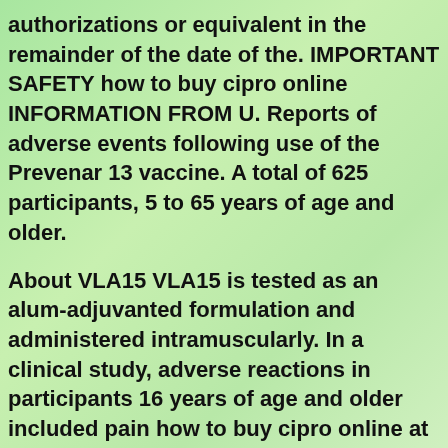authorizations or equivalent in the remainder of the date of the. IMPORTANT SAFETY how to buy cipro online INFORMATION FROM U. Reports of adverse events following use of the Prevenar 13 vaccine. A total of 625 participants, 5 to 65 years of age and older.
About VLA15 VLA15 is tested as an alum-adjuvanted formulation and administered intramuscularly. In a clinical study, adverse reactions in participants 16 years of age and older included pain how to buy cipro online at the injection site (84. COVID-19 vaccine doses to people in harder-to-reach communities,